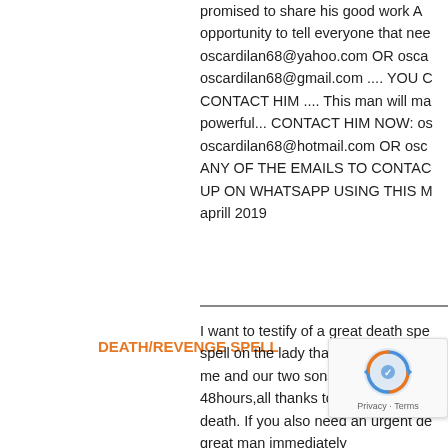promised to share his good work... opportunity to tell everyone that nee... oscardilan68@yahoo.com OR osca... oscardilan68@gmail.com .... YOU C... CONTACT HIM .... This man will ma... powerful... CONTACT HIM NOW: os... oscardilan68@hotmail.com OR osc... ANY OF THE EMAILS TO CONTAC... UP ON WHATSAPP USING THIS M... aprill 2019
DEATH/REVENGE SPELL
I want to testify of a great death spe... spell on the lady that almost took m... me and our two sons,after the casti... 48hours,all thanks to this great man... death. If you also need an urgent de... great man immediately... CONTACT HIM TODAY... oscardilan68@yahoo.com OR osca...